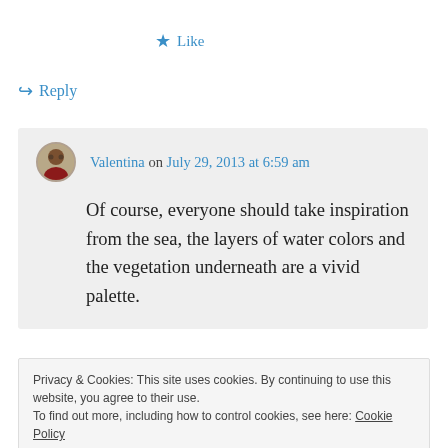★ Like
↪ Reply
Valentina on July 29, 2013 at 6:59 am
Of course, everyone should take inspiration from the sea, the layers of water colors and the vegetation underneath are a vivid palette.
Privacy & Cookies: This site uses cookies. By continuing to use this website, you agree to their use.
To find out more, including how to control cookies, see here: Cookie Policy
Close and accept